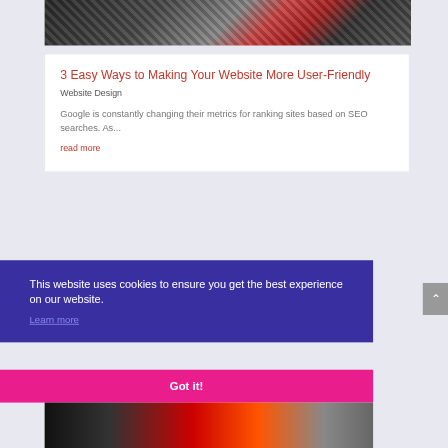[Figure (photo): Cropped photo of people shopping, showing colorful clothing including striped, polka dot, and plaid patterns with shopping bags]
3 Easy Ways to Making Your Website More User-Friendly
Website Design
Google is constantly changing their metrics for ranking sites based on SEO searches. As...
read more
This website uses cookies to ensure you get the best experience on our website.
Learn more
Got it!